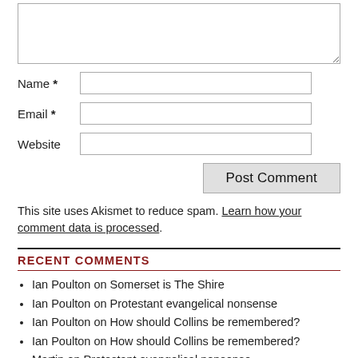[Figure (screenshot): Textarea input box for comment]
Name *
[Figure (screenshot): Name input field]
Email *
[Figure (screenshot): Email input field]
Website
[Figure (screenshot): Website input field]
[Figure (screenshot): Post Comment button]
This site uses Akismet to reduce spam. Learn how your comment data is processed.
RECENT COMMENTS
Ian Poulton on Somerset is The Shire
Ian Poulton on Protestant evangelical nonsense
Ian Poulton on How should Collins be remembered?
Ian Poulton on How should Collins be remembered?
Martin on Protestant evangelical nonsense